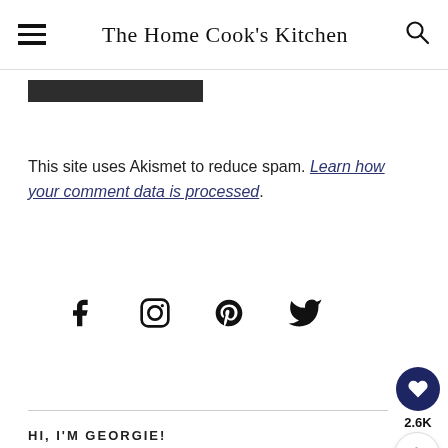The Home Cook's Kitchen
[Figure (other): Dark rectangular bar / image placeholder]
This site uses Akismet to reduce spam. Learn how your comment data is processed.
[Figure (other): Social media icons: Facebook, Instagram, Pinterest, Twitter]
[Figure (other): Heart/save button with count 2.6K and share button]
HI, I'M GEORGIE!